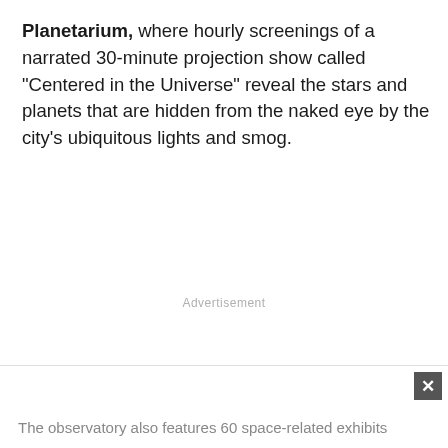Planetarium, where hourly screenings of a narrated 30-minute projection show called "Centered in the Universe" reveal the stars and planets that are hidden from the naked eye by the city's ubiquitous lights and smog.
Advertisement
The observatory also features 60 space-related exhibits